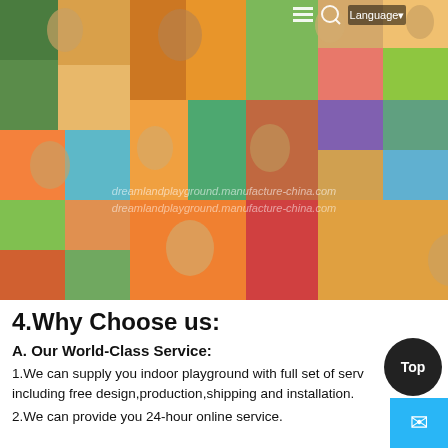[Figure (photo): Collage of children playing in colorful indoor playground areas with mascot characters, slides, and play equipment. Multiple photos arranged in a grid. Watermark text: dreamlandplayground.manufacture-china.com]
4.Why Choose us:
A. Our World-Class Service:
1.We can supply you indoor playground with full set of service, including free design,production,shipping and installation.
2.We can provide you 24-hour online service.